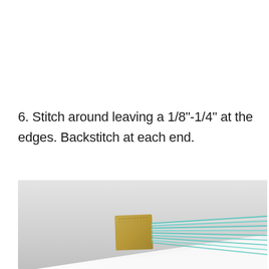6. Stitch around leaving a 1/8"-1/4" at the edges. Backstitch at each end.
[Figure (photo): Close-up photo of fabric being stitched, showing a tan/gold fabric piece with teal ribbon or cord strands fanning out to the right, against a light gray background, with white fabric visible below.]